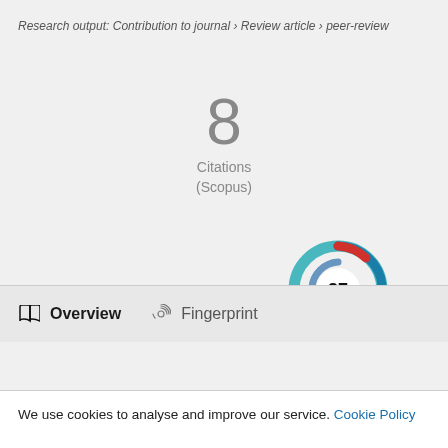Research output: Contribution to journal › Review article › peer-review
8 Citations (Scopus)
[Figure (other): Altmetric donut badge showing score of 27, with teal/blue swirl and small red segment]
Overview   Fingerprint
We use cookies to analyse and improve our service. Cookie Policy